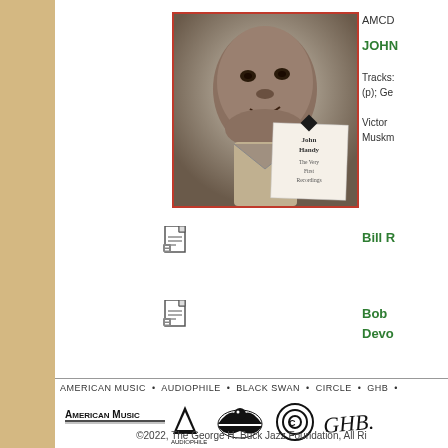[Figure (photo): Album cover for John Handy 'The Very First Recordings' showing a black and white portrait of a man, with a small CD label overlay]
AMCD
JOHN
Tracks: (p); Ge
Victor Muskm
[Figure (illustration): Document/newspaper icon]
Bill R
[Figure (illustration): Document/newspaper icon]
Bob Devo
AMERICAN MUSIC • AUDIOPHILE • BLACK SWAN • CIRCLE • GHB •
[Figure (logo): American Music logo, Audiophile logo, Black Swan logo, Circle Records logo, GHB signature logo]
©2022, The George H. Buck Jazz Foundation, All Ri